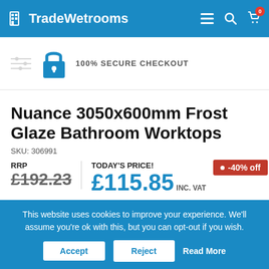TradeWetrooms
100% SECURE CHECKOUT
Nuance 3050x600mm Frost Glaze Bathroom Worktops
SKU: 306991
RRP £192.23 TODAY'S PRICE! £115.85 INC. VAT -40% off
This website uses cookies to improve your experience. We'll assume you're ok with this, but you can opt-out if you wish. Accept Reject Read More